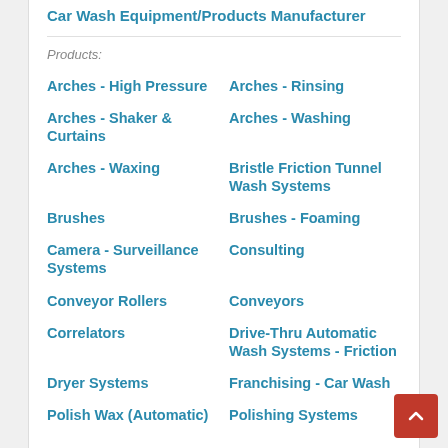Car Wash Equipment/Products Manufacturer
Products:
Arches - High Pressure
Arches - Rinsing
Arches - Shaker & Curtains
Arches - Washing
Arches - Waxing
Bristle Friction Tunnel Wash Systems
Brushes
Brushes - Foaming
Camera - Surveillance Systems
Consulting
Conveyor Rollers
Conveyors
Correlators
Drive-Thru Automatic Wash Systems - Friction
Dryer Systems
Franchising - Car Wash
Polish Wax (Automatic)
Polishing Systems